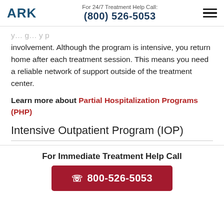ARK | For 24/7 Treatment Help Call: (800) 526-5053
...y...g...y p involvement. Although the program is intensive, you return home after each treatment session. This means you need a reliable network of support outside of the treatment center.
Learn more about Partial Hospitalization Programs (PHP)
Intensive Outpatient Program (IOP)
For Immediate Treatment Help Call
800-526-5053